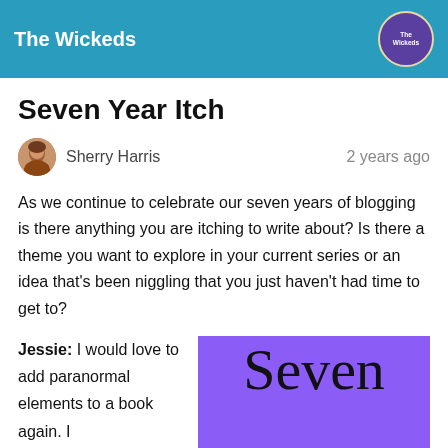The Wickeds
Seven Year Itch
Sherry Harris   2 years ago
As we continue to celebrate our seven years of blogging is there anything you are itching to write about? Is there a theme you want to explore in your current series or an idea that's been niggling that you just haven't had time to get to?
Jessie: I would love to add paranormal elements to a book again. I
[Figure (illustration): Purple background image with large serif text reading 'Seven Year']